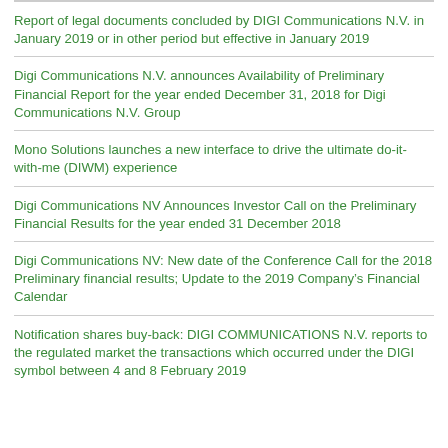Report of legal documents concluded by DIGI Communications N.V. in January 2019 or in other period but effective in January 2019
Digi Communications N.V. announces Availability of Preliminary Financial Report for the year ended December 31, 2018 for Digi Communications N.V. Group
Mono Solutions launches a new interface to drive the ultimate do-it-with-me (DIWM) experience
Digi Communications NV Announces Investor Call on the Preliminary Financial Results for the year ended 31 December 2018
Digi Communications NV: New date of the Conference Call for the 2018 Preliminary financial results; Update to the 2019 Company’s Financial Calendar
Notification shares buy-back: DIGI COMMUNICATIONS N.V. reports to the regulated market the transactions which occurred under the DIGI symbol between 4 and 8 February 2019